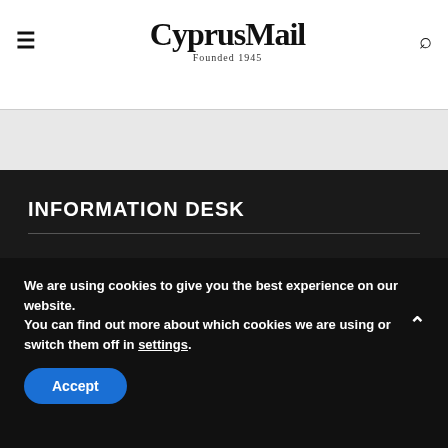CyprusMail — Founded 1945
INFORMATION DESK
Emergency & Medical Services
Utilities, transport & telecoms
Holidays & working hours
We are using cookies to give you the best experience on our website. You can find out more about which cookies we are using or switch them off in settings.
Accept